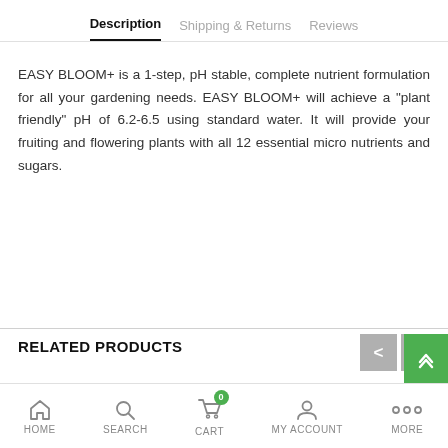Description   Shipping & Returns   Reviews
EASY BLOOM+ is a 1-step, pH stable, complete nutrient formulation for all your gardening needs. EASY BLOOM+ will achieve a "plant friendly" pH of 6.2-6.5 using standard water. It will provide your fruiting and flowering plants with all 12 essential micro nutrients and sugars.
RELATED PRODUCTS
HOME   SEARCH   CART   MY ACCOUNT   MORE